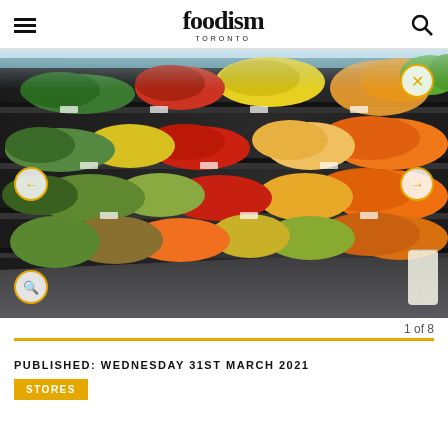foodism TORONTO
[Figure (photo): Interior of a grocery store showing well-stocked produce shelves with various fruits including oranges, lemons, limes, grapefruits, tomatoes, and other produce arranged on dark metal refrigerated shelving units under bright lighting.]
1 of 8
PUBLISHED: WEDNESDAY 31ST MARCH 2021
STORES